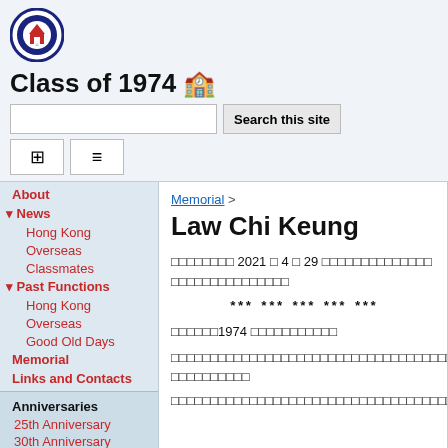Class of 1974
Memorial > Law Chi Keung
Law Chi Keung
□□□□□□□□ 2021 □ 4 □ 29 □□□□□□□□□□□□□□□□□□□□□□□□□
*** *** *** *** ***
□□□□□□1974 □□□□□□□□□□□
□□□□□□□□□□□□□□□□□□□□□□□□□□□□□□□□□□□□□□□□□□□□□□□□□□□□□
□□□□□□□□□□□□□□□□□□□□□□□□□□□□□□□□□□□□□□□□□□□□□□□□□□□□□